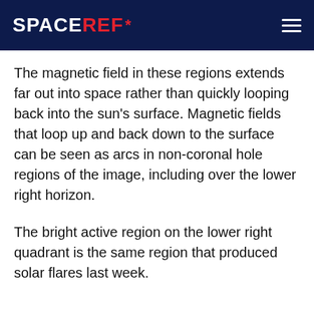SPACEREF*
The magnetic field in these regions extends far out into space rather than quickly looping back into the sun’s surface. Magnetic fields that loop up and back down to the surface can be seen as arcs in non-coronal hole regions of the image, including over the lower right horizon.
The bright active region on the lower right quadrant is the same region that produced solar flares last week.